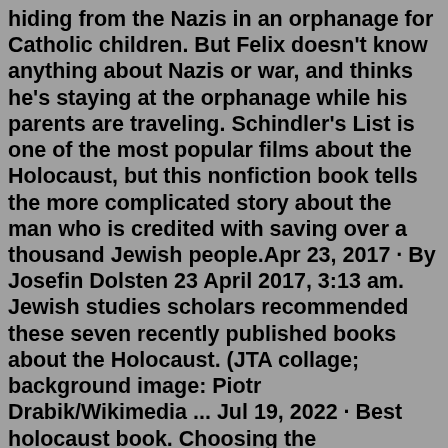hiding from the Nazis in an orphanage for Catholic children. But Felix doesn't know anything about Nazis or war, and thinks he's staying at the orphanage while his parents are traveling. Schindler's List is one of the most popular films about the Holocaust, but this nonfiction book tells the more complicated story about the man who is credited with saving over a thousand Jewish people.Apr 23, 2017 · By Josefin Dolsten 23 April 2017, 3:13 am. Jewish studies scholars recommended these seven recently published books about the Holocaust. (JTA collage; background image: Piotr Drabik/Wikimedia ... Jul 19, 2022 · Best holocaust book. Choosing the appropriate holocaust book can be tough. However, if you consider these factors, your job will be easier. These factors will be discussed: Product Quality: One of the most important factors to consider when purchasing a product is its quality. Nobody would want a low-quality or easily worn-out object. The 23 best holocaust biography books recommended by Samantha Berry, such as Henry, Robert, Mosele. If